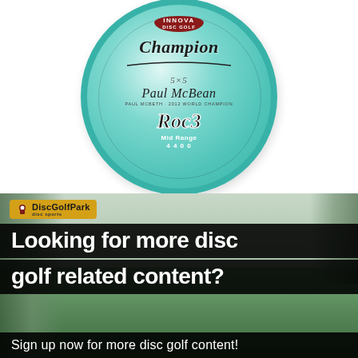[Figure (photo): Innova Champion Roc3 disc golf disc in translucent teal/mint color with Paul McBeth signature, shown from top view. The disc has the Innova Disc Golf logo in red at top, 'Champion' in italic script, a signature with '5×5' notation attributed to Paul McBeth 2012 World Champion, and 'Roc3 Mid Range 4 4 0 0' text.]
[Figure (photo): DiscGolfPark banner advertisement over a disc golf course photo showing green fairway and trees. Contains DiscGolfPark logo badge (yellow/gold), large white text 'Looking for more disc golf related content?' on black overlay bars, and a call-to-action bar 'Sign up now for more disc golf content!']